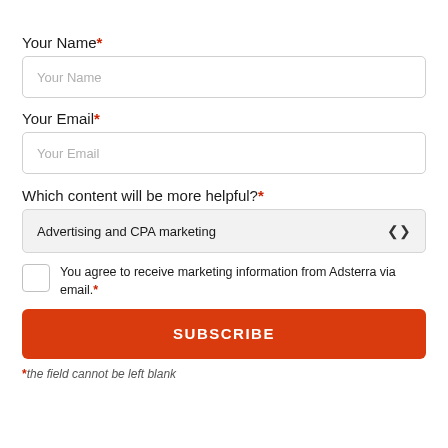Your Name*
Your Name (placeholder)
Your Email*
Your Email (placeholder)
Which content will be more helpful?*
Advertising and CPA marketing
You agree to receive marketing information from Adsterra via email.*
SUBSCRIBE
*the field cannot be left blank